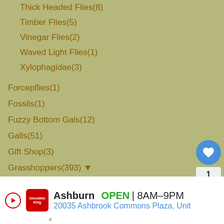Thick Headed Flies(8)
Timber Flies(5)
Vinegar Flies(2)
Waved Light Flies(1)
Xylophagidae(3)
Forcepflies(1)
Fossils(1)
Fuzzy Bottom Gals(12)
Galls(51)
Gift Shop(3)
Grasshoppers(393) ▼
Toxic Milkweed Grasshoppers(73)
Hump Winged Crickets(14)
Ikebana(2)
Katydids(501)
Louse(46)
Mayflies(69)
Mites(146) ▼
Sookies(4)
[Figure (screenshot): Floating action buttons: heart/like button (blue circle), count badge showing 1, share button]
[Figure (screenshot): What's Next panel showing Gossamer Winged... with thumbnail]
[Figure (screenshot): Advertisement banner: Smoothies Road, Ashburn OPEN 8AM-9PM, 20035 Ashbrook Commons Plaza, Unit]